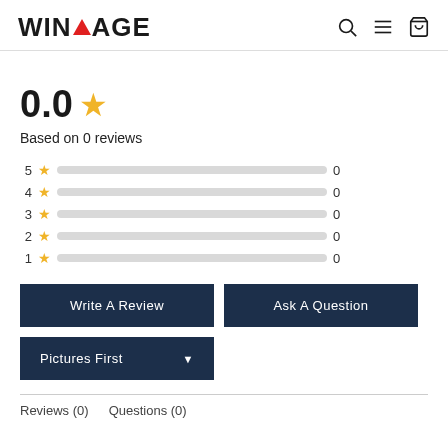WINTAGE
0.0
Based on 0 reviews
5 ★ 0
4 ★ 0
3 ★ 0
2 ★ 0
1 ★ 0
Write A Review
Ask A Question
Pictures First
Reviews (0)   Questions (0)